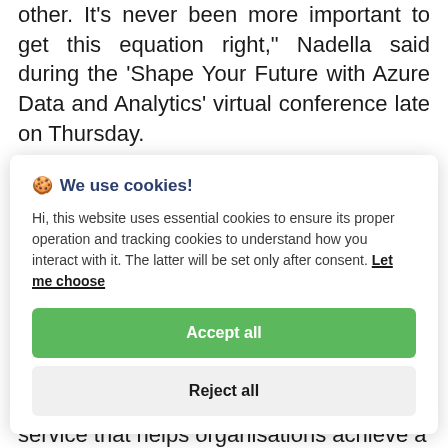other. It's never been more important to get this equation right," Nadella said during the 'Shape Your Future with Azure Data and Analytics' virtual conference late on Thursday.
🍪 We use cookies!

Hi, this website uses essential cookies to ensure its proper operation and tracking cookies to understand how you interact with it. The latter will be set only after consent. Let me choose

[Accept all] [Reject all]
service that helps organisations achieve a